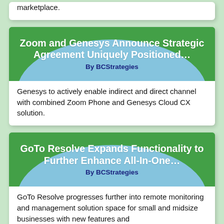marketplace.
[Figure (illustration): Banner for article: Zoom and Genesys Announce Strategic Agreement Uniquely Positioned... By BCStrategies. Green background with blue arc/dome shape.]
Genesys to actively enable indirect and direct channel with combined Zoom Phone and Genesys Cloud CX solution.
[Figure (illustration): Banner for article: GoTo Resolve Expands Functionality to Further Enhance All-In-One... By BCStrategies. Green background with blue arc/dome shape.]
GoTo Resolve progresses further into remote monitoring and management solution space for small and midsize businesses with new features and